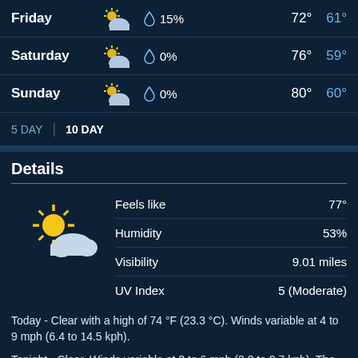| Day | Condition | Precip | High | Low |
| --- | --- | --- | --- | --- |
| Friday | partly-cloudy | 15% | 72° | 61° |
| Saturday | partly-cloudy | 0% | 76° | 59° |
| Sunday | partly-cloudy | 0% | 80° | 60° |
5 DAY | 10 DAY
Details
[Figure (illustration): Partly cloudy with sun weather icon]
| Metric | Value |
| --- | --- |
| Feels like | 77° |
| Humidity | 53% |
| Visibility | 9.01 miles |
| UV Index | 5 (Moderate) |
Today - Clear with a high of 74 °F (23.3 °C). Winds variable at 4 to 9 mph (6.4 to 14.5 kph).
Tonight - Clear. Winds variable at 2 to 6 mph (3.2 to 9.7 kph). The overnight low will be 60 °F (15.6 °C).